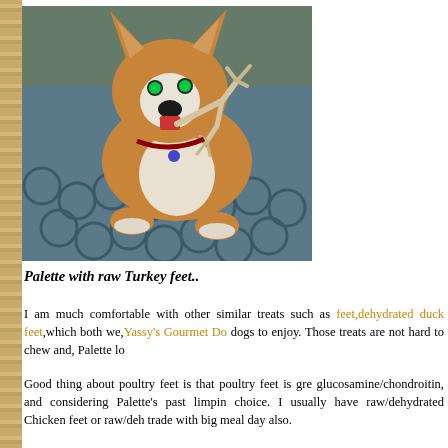[Figure (photo): A Corgi dog named Palette chewing on a raw turkey foot, lying on a circular-patterned mat/rug]
Palette with raw Turkey feet..
I am much comfortable with other similar treats such as feet,dehydrated duck feet,which both we,Yassy's Gourmet Do dogs to enjoy. Those treats are not hard to chew and, Palette lo
Good thing about poultry feet is that poultry feet is gre glucosamine/chondroitin, and considering Palette's past limpin choice. I usually have raw/dehydrated Chicken feet or raw/deh trade with big meal day also.